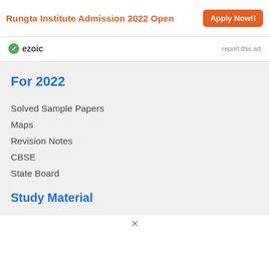[Figure (other): Advertisement banner for Rungta Institute Admission 2022 Open with Apply Now button]
[Figure (logo): Ezoic logo with report this ad text]
For 2022
Solved Sample Papers
Maps
Revision Notes
CBSE
State Board
Study Material